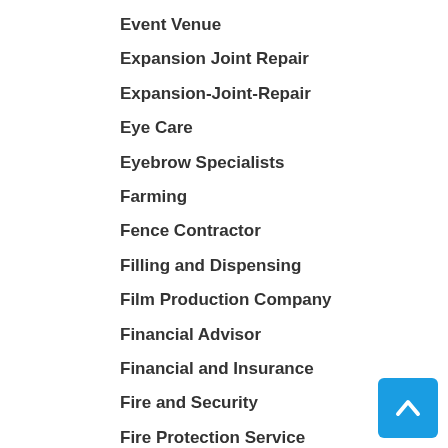Event Venue
Expansion Joint Repair
Expansion-Joint-Repair
Eye Care
Eyebrow Specialists
Farming
Fence Contractor
Filling and Dispensing
Film Production Company
Financial Advisor
Financial and Insurance
Fire and Security
Fire Protection Service
Fireworks Store
Fishing
Fishing Supplies
Fitness Equipment